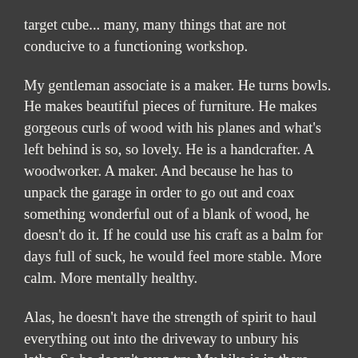target cube... many, many things that are not conducive to a functioning workshop.
My gentleman associate is a maker. He turns bowls. He makes beautiful pieces of furniture. He makes gorgeous curls of wood with his planes and what's left behind is so, so lovely. He is a handcrafter. A woodworker. A maker. And because he has to unpack the garage in order to go out and coax something wonderful out of a blank of wood, he doesn't do it. If he could use his craft as a balm for days full of suck, he would feel more stable. More calm. More mentally healthy.
Alas, he doesn't have the strength of spirit to haul everything out into the driveway to unbury his lathe. So he doesn't even try. My bike is in there. But I can't get it out because it's buried behind the table saw and 2 snow shovels and 3 yard waste bags. So I don't even try. There's a canoe out in my yard. Child has sanded it and prepped it for fiberglass repairs and Kevlar wrapping. It maybe should have gone into the garage for the last few winters. But no